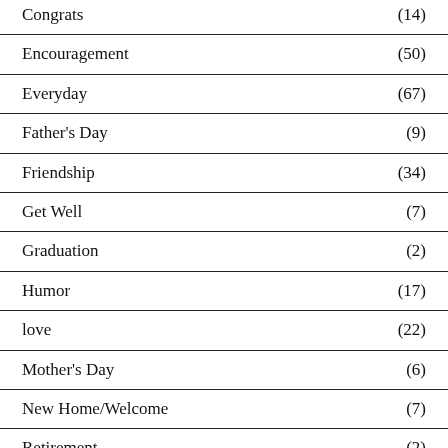Congrats (14)
Encouragement (50)
Everyday (67)
Father's Day (9)
Friendship (34)
Get Well (7)
Graduation (2)
Humor (17)
love (22)
Mother's Day (6)
New Home/Welcome (7)
Retirement (2)
Sympathy (13)